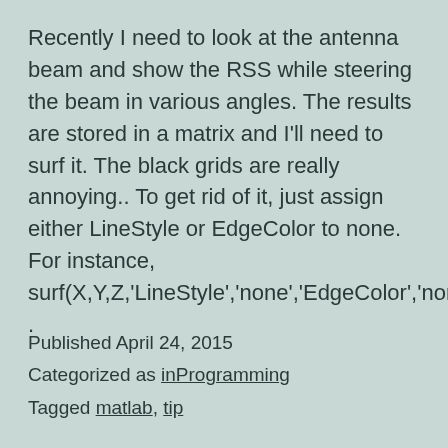Recently I need to look at the antenna beam and show the RSS while steering the beam in various angles. The results are stored in a matrix and I'll need to surf it. The black grids are really annoying.. To get rid of it, just assign either LineStyle or EdgeColor to none. For instance, surf(X,Y,Z,'LineStyle','none','EdgeColor','none') .
Published April 24, 2015
Categorized as inProgramming
Tagged matlab, tip